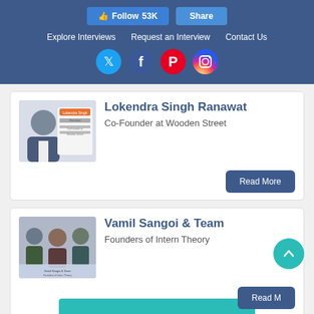Follow 53K  Share  |  Explore Interviews  Request an Interview  Contact Us
[Figure (screenshot): Social media icons: Twitter, Facebook, Pinterest, Instagram]
Lokendra Singh Ranawat
Co-Founder at Wooden Street
[Figure (photo): Photo of Lokendra Singh Ranawat, Co-Founder at Wooden Street]
Read More
Vamil Sangoi & Team
Founders of Intern Theory
[Figure (photo): Photo of Vamil Sangoi & Team, Founders of Intern Theory]
Read More